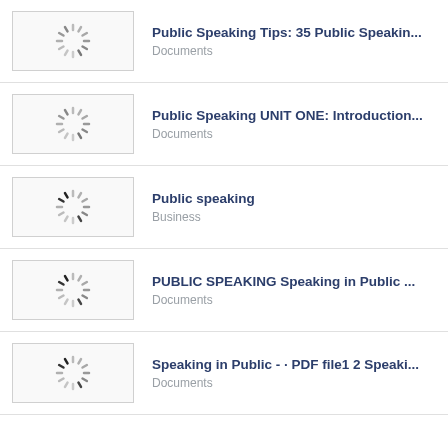Public Speaking Tips: 35 Public Speakin... | Documents
Public Speaking UNIT ONE: Introduction... | Documents
Public speaking | Business
PUBLIC SPEAKING Speaking in Public ... | Documents
Speaking in Public - · PDF file1 2 Speaki... | Documents